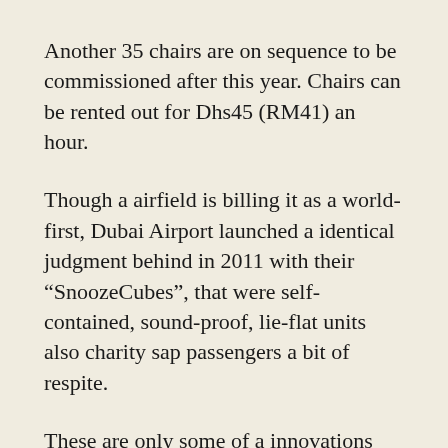Another 35 chairs are on sequence to be commissioned after this year. Chairs can be rented out for Dhs45 (RM41) an hour.
Though a airfield is billing it as a world-first, Dubai Airport launched a identical judgment behind in 2011 with their “SnoozeCubes”, that were self-contained, sound-proof, lie-flat units also charity sap passengers a bit of respite.
These are only some of a innovations entrance out of award-winning airports that aim to take a highlight out of travelling. Singapore Changi Airport, that surfaced Skytrax’s World’s Best Airport Awards this year, facilities pleasant rooftop gardens, film theatres, giveaway feet massages and giveaway tours into a city for transits longer than 5 hours, – AFP RelaxNews